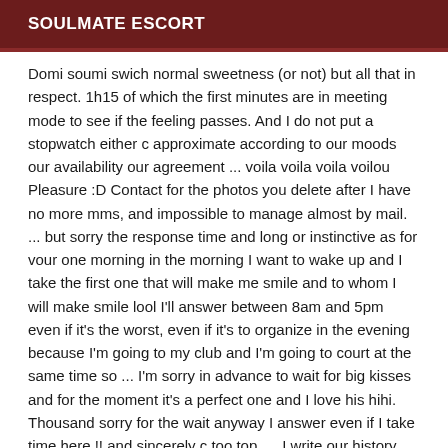SOULMATE ESCORT
Domi soumi swich normal sweetness (or not) but all that in respect. 1h15 of which the first minutes are in meeting mode to see if the feeling passes. And I do not put a stopwatch either c approximate according to our moods our availability our agreement ... voila voila voila voilou Pleasure :D Contact for the photos you delete after I have no more mms, and impossible to manage almost by mail. ... but sorry the response time and long or instinctive as for vour one morning in the morning I want to wake up and I take the first one that will make me smile and to whom I will make smile lool I'll answer between 8am and 5pm even if it's the worst, even if it's to organize in the evening because I'm going to my club and I'm going to court at the same time so ... I'm sorry in advance to wait for big kisses and for the moment it's a perfect one and I love his hihi. Thousand sorry for the wait anyway I answer even if I take time here !! and sincerely c too top .... I write our history our unique